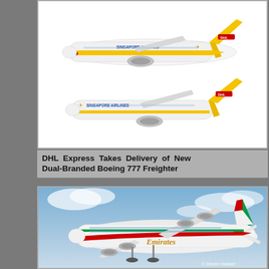[Figure (illustration): Two DHL/Singapore Airlines Boeing 777 freighter aircraft livery illustrations — one showing top aircraft with DHL yellow tail and Singapore Airlines fuselage markings, and one below showing the same dual-branded livery from a slightly different angle.]
DHL Express Takes Delivery of New Dual-Branded Boeing 777 Freighter
[Figure (photo): Photograph of an Emirates Airbus A380 aircraft in flight against a partly cloudy blue sky, showing the distinctive Emirates livery with red, white and green tail stripe. Photo credit: © Steven Howard]